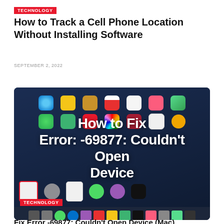TECHNOLOGY
How to Track a Cell Phone Location Without Installing Software
SEPTEMBER 2, 2022
[Figure (screenshot): Mac desktop screenshot showing app icons with overlaid white bold text: 'How to Fix Error: -69877: Couldn't Open Device'. A TECHNOLOGY badge appears at the bottom left of the image. The dock is visible at the bottom.]
Fix Error -69877: Couldn't Open Device (Mac)